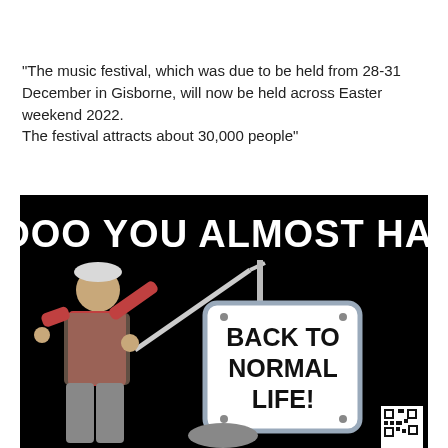"The music festival, which was due to be held from 28-31 December in Gisborne, will now be held across Easter weekend 2022.
The festival attracts about 30,000 people"
[Figure (photo): A meme image with black background showing text 'OOOOO YOU ALMOST HAD IT' at the top in large white bold letters, a person on the left dressed casually swinging a stick/bat, and a road sign reading 'BACK TO NORMAL LIFE!' in the center. A QR code appears in the bottom right corner.]